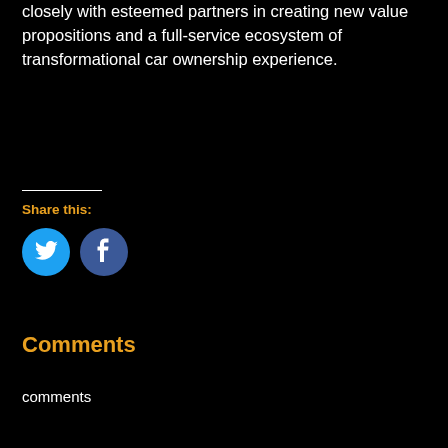closely with esteemed partners in creating new value propositions and a full-service ecosystem of transformational car ownership experience.
Share this:
[Figure (illustration): Twitter and Facebook social share icon buttons (blue circles with white icons)]
Comments
comments